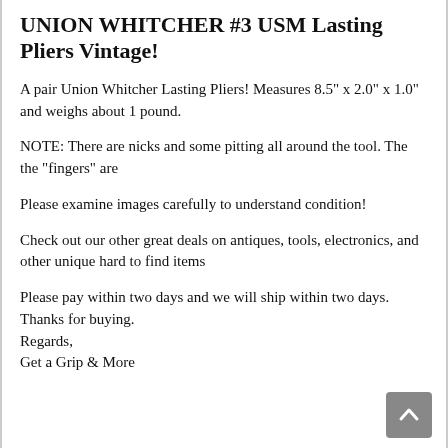UNION WHITCHER #3 USM Lasting Pliers Vintage!
A pair Union Whitcher Lasting Pliers! Measures 8.5" x 2.0" x 1.0" and weighs about 1 pound.
NOTE: There are nicks and some pitting all around the tool. The the "fingers" are
Please examine images carefully to understand condition!
Check out our other great deals on antiques, tools, electronics, and other unique hard to find items
Please pay within two days and we will ship within two days.
Thanks for buying.
Regards,
Get a Grip & More